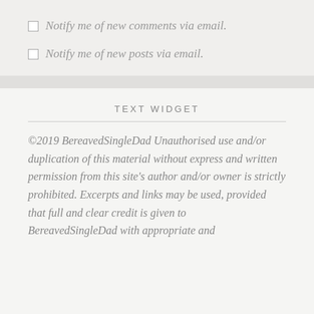Notify me of new comments via email.
Notify me of new posts via email.
TEXT WIDGET
©2019 BereavedSingleDad Unauthorised use and/or duplication of this material without express and written permission from this site's author and/or owner is strictly prohibited. Excerpts and links may be used, provided that full and clear credit is given to BereavedSingleDad with appropriate and